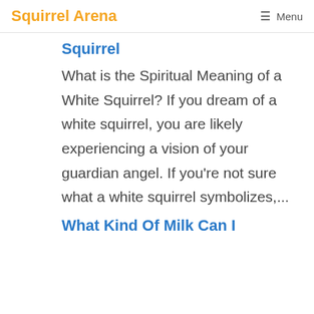Squirrel Arena  ☰ Menu
Squirrel
What is the Spiritual Meaning of a White Squirrel? If you dream of a white squirrel, you are likely experiencing a vision of your guardian angel. If you're not sure what a white squirrel symbolizes,...
What Kind Of Milk Can I